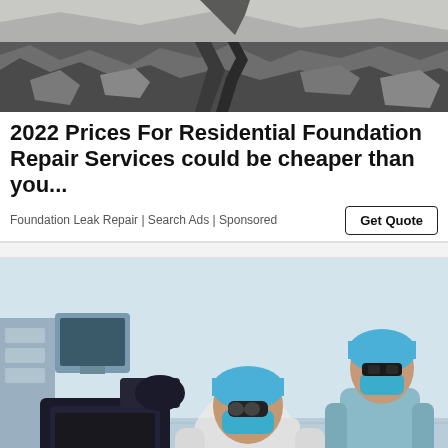[Figure (photo): Cracked concrete foundation wall showing structural damage and exposed rock/rubble]
2022 Prices For Residential Foundation Repair Services could be cheaper than you...
Foundation Leak Repair | Search Ads | Sponsored
[Figure (photo): Medical scene showing two surgeons in blue scrubs, masks and caps performing an eye procedure on a patient lying on a surgical table with laser equipment]